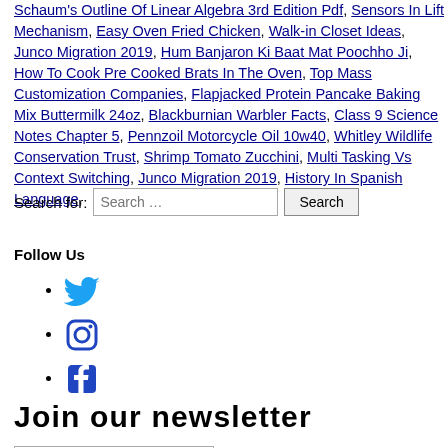Schaum's Outline Of Linear Algebra 3rd Edition Pdf, Sensors In Lift Mechanism, Easy Oven Fried Chicken, Walk-in Closet Ideas, Junco Migration 2019, Hum Banjaron Ki Baat Mat Poochho Ji, How To Cook Pre Cooked Brats In The Oven, Top Mass Customization Companies, Flapjacked Protein Pancake Baking Mix Buttermilk 24oz, Blackburnian Warbler Facts, Class 9 Science Notes Chapter 5, Pennzoil Motorcycle Oil 10w40, Whitley Wildlife Conservation Trust, Shrimp Tomato Zucchini, Multi Tasking Vs Context Switching, Junco Migration 2019, History In Spanish Language,
Search for: Search ...  Search
Follow Us
Twitter
Instagram
Facebook
Join our newsletter
First Name